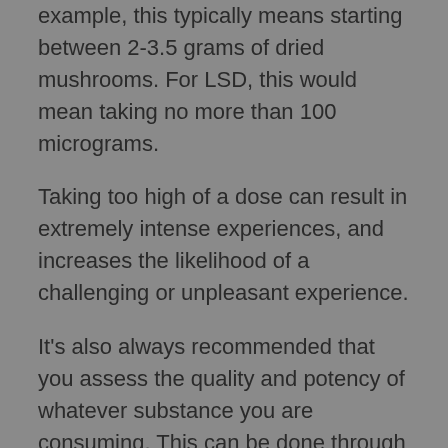example, this typically means starting between 2-3.5 grams of dried mushrooms. For LSD, this would mean taking no more than 100 micrograms.
Taking too high of a dose can result in extremely intense experiences, and increases the likelihood of a challenging or unpleasant experience.
It's also always recommended that you assess the quality and potency of whatever substance you are consuming. This can be done through simple and affordable testing kits which you can buy online.
4) Timing is Key